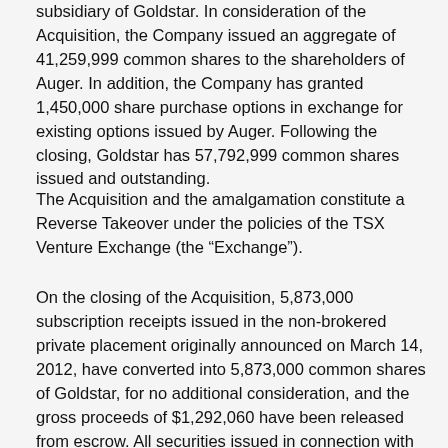subsidiary of Goldstar. In consideration of the Acquisition, the Company issued an aggregate of 41,259,999 common shares to the shareholders of Auger. In addition, the Company has granted 1,450,000 share purchase options in exchange for existing options issued by Auger. Following the closing, Goldstar has 57,792,999 common shares issued and outstanding.
The Acquisition and the amalgamation constitute a Reverse Takeover under the policies of the TSX Venture Exchange (the “Exchange”).
On the closing of the Acquisition, 5,873,000 subscription receipts issued in the non-brokered private placement originally announced on March 14, 2012, have converted into 5,873,000 common shares of Goldstar, for no additional consideration, and the gross proceeds of $1,292,060 have been released from escrow. All securities issued in connection with the financing are subject to a statutory hold period expiring on September 3, 2012. The proceeds of the financing will be used by the Company to finance exploration on the Thetford Mines Property, to finance further acquisitions of